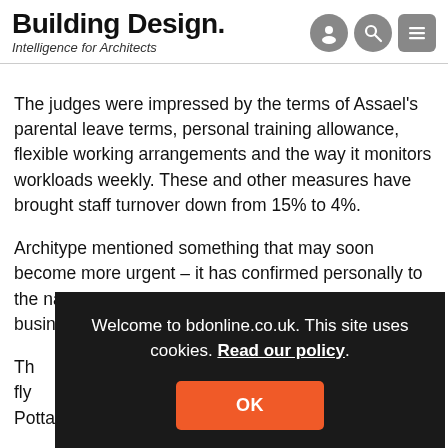Building Design. Intelligence for Architects
The judges were impressed by the terms of Assael's parental leave terms, personal training allowance, flexible working arrangements and the way it monitors workloads weekly. These and other measures have brought staff turnover down from 15% to 4%.
Architype mentioned something that may soon become more urgent – it has confirmed personally to the nationals of other EU countries working at its business that it will help them re[…]
Th[…] n-fly[…] Pottaro Thomas Edwards and bptw.
Welcome to bdonline.co.uk. This site uses cookies. Read our policy.